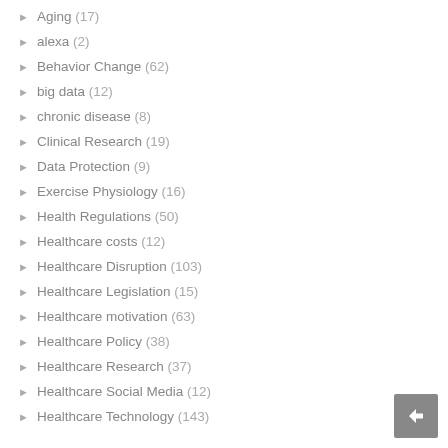Aging (17)
alexa (2)
Behavior Change (62)
big data (12)
chronic disease (8)
Clinical Research (19)
Data Protection (9)
Exercise Physiology (16)
Health Regulations (50)
Healthcare costs (12)
Healthcare Disruption (103)
Healthcare Legislation (15)
Healthcare motivation (63)
Healthcare Policy (38)
Healthcare Research (37)
Healthcare Social Media (12)
Healthcare Technology (143)